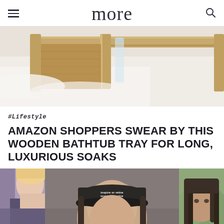more
[Figure (photo): Close-up photo of a bamboo wooden bathtub tray resting on white fluffy bath towels or a bathtub edge, warm neutral tones]
#Lifestyle
AMAZON SHOPPERS SWEAR BY THIS WOODEN BATHTUB TRAY FOR LONG, LUXURIOUS SOAKS
[Figure (photo): Three side-by-side photos: left shows a partial person with pink/purple top, center shows a person wearing a dark baseball cap with 'inspire or retire' text repeated on it, right shows a woman with braided hair against a green background]